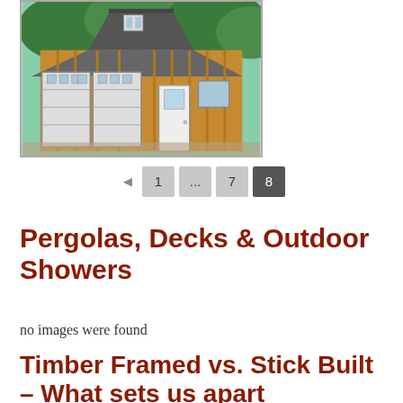[Figure (photo): A wooden barn-style garage building with cedar board-and-batten siding, grey shingled gambrel roof, two garage doors on the left, and a white entry door in the center. Trees visible in the background.]
◄  1  ...  7  8
Pergolas, Decks & Outdoor Showers
no images were found
Timber Framed vs. Stick Built – What sets us apart